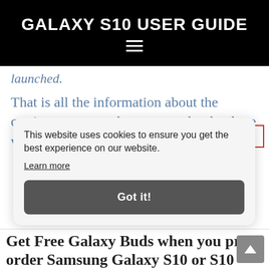GALAXY S10 USER GUIDE
launched.
That is all the information about the carriers you can take to pre-order the three variants of the Galaxy S10 in the US.
[Figure (screenshot): Cookie consent banner overlay with message 'This website uses cookies to ensure you get the best experience on our website.' and a 'Learn more' link and 'Got it!' button]
Get Free Galaxy Buds when you pre-order Samsung Galaxy S10 or S10